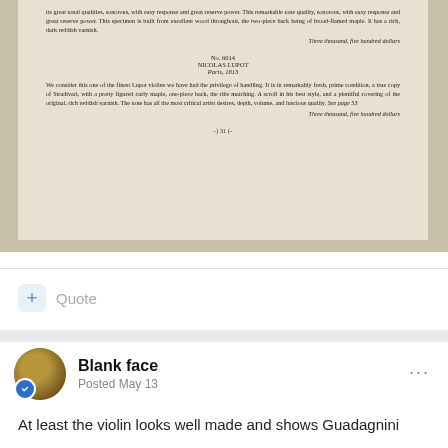[Figure (photo): Photograph of an open book/catalog page showing listings for violins. The visible text includes a partial entry ending with 'Three thousand, five hundred dollars', then a full entry for No. 6014 NICOLAS LUPOT, Paris, 1813 with description and price. A hand shadow falls across the right side of the page. Page number -) 31 (- visible at bottom.]
Quote
Blank face
Posted May 13
At least the violin looks well made and shows Guadagnini